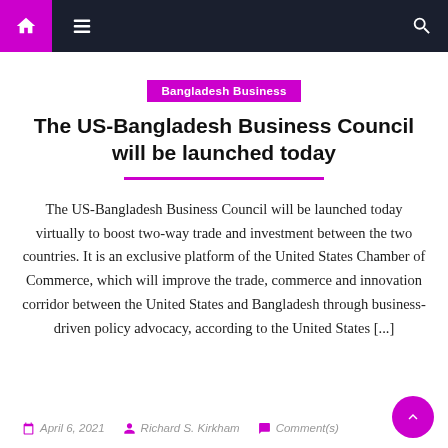Navigation bar with home, menu, and search icons
Bangladesh Business
The US-Bangladesh Business Council will be launched today
The US-Bangladesh Business Council will be launched today virtually to boost two-way trade and investment between the two countries. It is an exclusive platform of the United States Chamber of Commerce, which will improve the trade, commerce and innovation corridor between the United States and Bangladesh through business-driven policy advocacy, according to the United States [...]
April 6, 2021   Richard S. Kirkham   Comment(s)